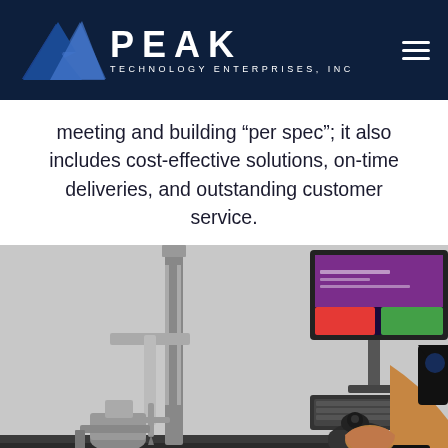[Figure (logo): Peak Technology Enterprises, Inc. logo with mountain graphic on dark navy background with hamburger menu icon]
meeting and building “per spec”; it also includes cost-effective solutions, on-time deliveries, and outstanding customer service.
[Figure (photo): A technician operating a coordinate measuring machine (CMM) with a joystick controller. A monitor with purple and green interface is visible. A metal part is mounted on the CMM. The background is white/light grey.]